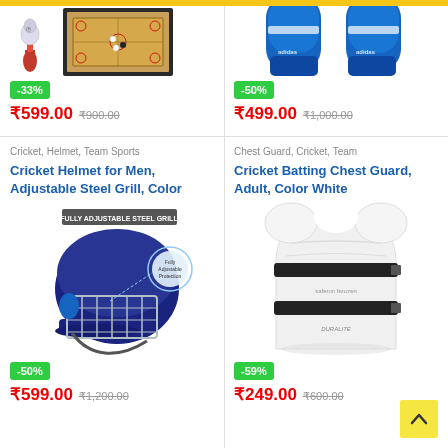[Figure (photo): Partial view of carrom board and accessories, top-cropped, left column top]
-33%
₹599.00  ₹900.00
[Figure (photo): Partial view of blue boxing gloves, top-cropped, right column top]
-50%
₹499.00  ₹1,000.00
Cricket, Helmet, Team Sports
Cricket Helmet for Men, Adjustable Steel Grill, Color
[Figure (photo): Navy blue cricket helmet with adjustable steel grill, product image with label 'FULLY ADJUSTABLE STEEL GRILL']
-50%
₹599.00  ₹1,200.00
Chest Guard, Cricket, Team
Cricket Batting Chest Guard, Adult, Color White
[Figure (photo): White cricket batting chest guard with black straps, product image]
-59%
₹249.00  ₹600.00